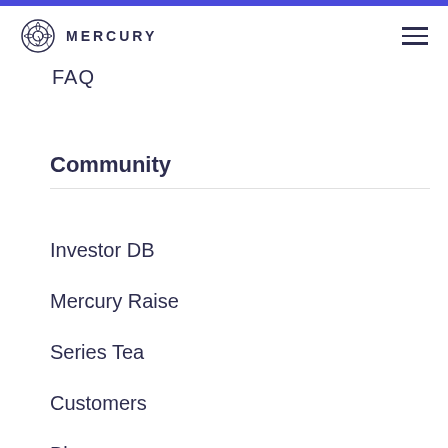MERCURY
FAQ
Community
Investor DB
Mercury Raise
Series Tea
Customers
Blog